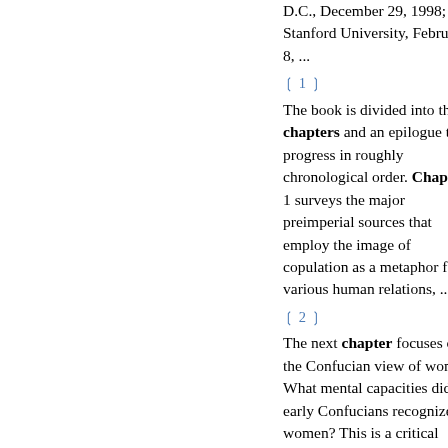D.C., December 29, 1998; at Stanford University, February 8, ...
❲ 1 ❳
The book is divided into three chapters and an epilogue that progress in roughly chronological order. Chapter 1 surveys the major preimperial sources that employ the image of copulation as a metaphor for various human relations, ...
❲ 2 ❳
The next chapter focuses on the Confucian view of women. What mental capacities did early Confucians recognize in women? This is a critical question because Confucians viewed the